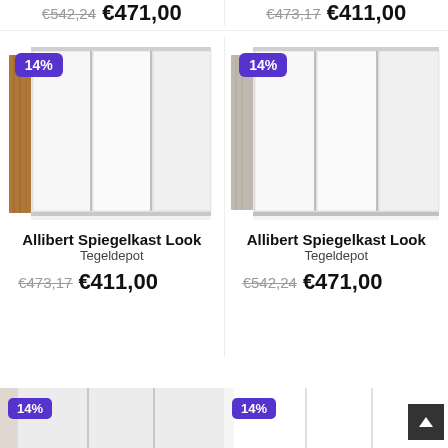€542,24  €471,00  |  €473,17  €411,00
[Figure (photo): Allibert Spiegelkast Look mirror cabinet with oak side panel and three white doors, 14% discount badge]
[Figure (photo): Allibert Spiegelkast Look mirror cabinet with grey/stone side panel and three white doors, 14% discount badge]
Allibert Spiegelkast Look
Tegeldepot
€473,17  €411,00
Allibert Spiegelkast Look
Tegeldepot
€542,24  €471,00
[Figure (photo): Partial product image with 14% badge, bottom left]
[Figure (photo): Partial product image with 14% badge, bottom right]